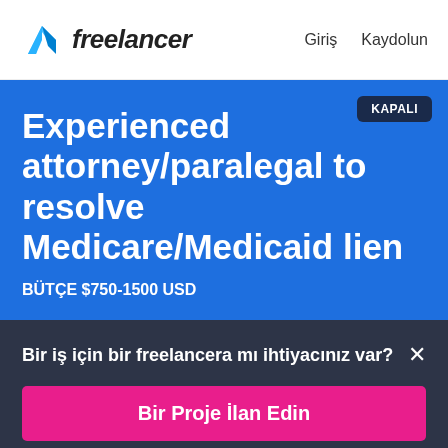freelancer  Giriş  Kaydolun
Experienced attorney/paralegal to resolve Medicare/Medicaid lien
BÜTÇE $750-1500 USD
KAPALI
Bir iş için bir freelancera mı ihtiyacınız var? ×
Bir Proje İlan Edin